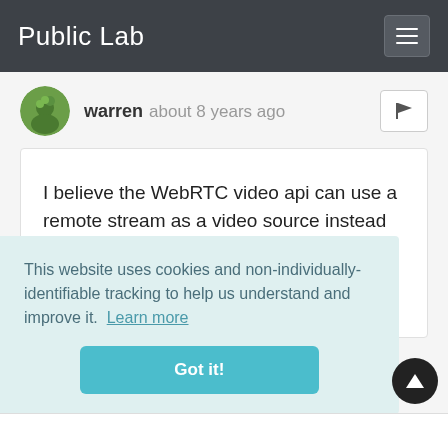Public Lab
warren about 8 years ago
I believe the WebRTC video api can use a remote stream as a video source instead of Infragram.org's use of a local webcam. I bet it could be set up to connect to a remote video stream and do live NDVI!
This website uses cookies and non-individually-identifiable tracking to help us understand and improve it.  Learn more
Got it!